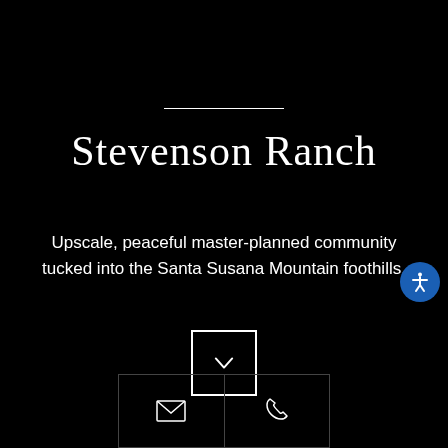Stevenson Ranch
Upscale, peaceful master-planned community tucked into the Santa Susana Mountain foothills.
[Figure (other): Downward chevron arrow inside a square border box, used as a scroll-down button]
[Figure (other): Accessibility icon (person with arms outstretched) in a blue circle]
[Figure (other): Bottom navigation bar with two buttons: email envelope icon and phone icon]